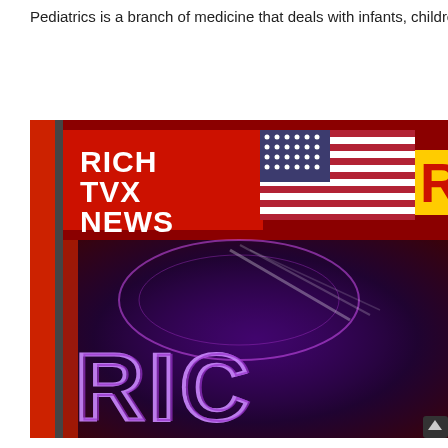Pediatrics is a branch of medicine that deals with infants, children and
[Figure (screenshot): Screenshot of Rich TVX News broadcast showing the network logo with 'RICH TVX NEWS' text in white on red background with American flag, and neon-style 'RIC' letters visible at the bottom of the screen against a dark purple/magenta background.]